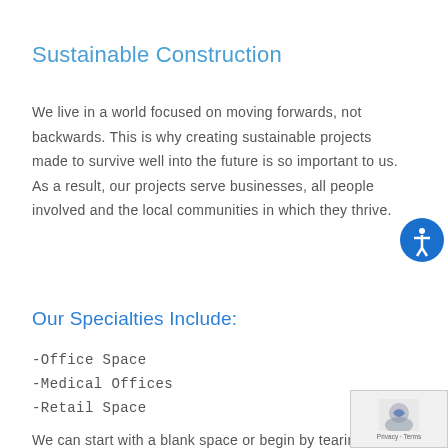Sustainable Construction
We live in a world focused on moving forwards, not backwards. This is why creating sustainable projects made to survive well into the future is so important to us. As a result, our projects serve businesses, all people involved and the local communities in which they thrive.
Our Specialties Include:
-Office Space
-Medical Offices
-Retail Space
We can start with a blank space or begin by tearing down a